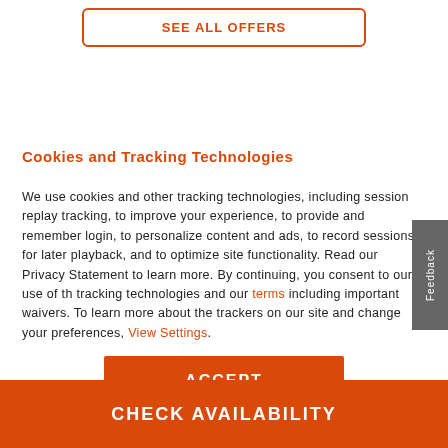[Figure (other): SEE ALL OFFERS button with orange border and text]
Cookies and Tracking Technologies
We use cookies and other tracking technologies, including session replay tracking, to improve your experience, to provide and remember login, to personalize content and ads, to record sessions for later playback, and to optimize site functionality. Read our Privacy Statement to learn more. By continuing, you consent to our use of these tracking technologies and our terms including important waivers. To learn more about the trackers on our site and change your preferences, View Settings.
[Figure (other): ACCEPT button with orange background]
[Figure (other): CHECK AVAILABILITY bar with orange background]